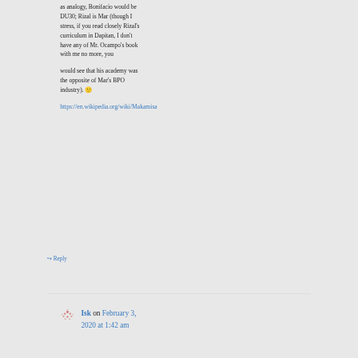as analogy, Bonifacio would be DU30; Rizal is Mar (though I stress, if you read closely Rizal's curriculum in Dapitan, I don't have any of Mr. Ocampo's book with me no more, you
would see that his academy was the opposite of Mar's BPO industry). 🙂
https://en.wikipedia.org/wiki/Makamisa
↪ Reply
Isk on February 3, 2020 at 1:42 am